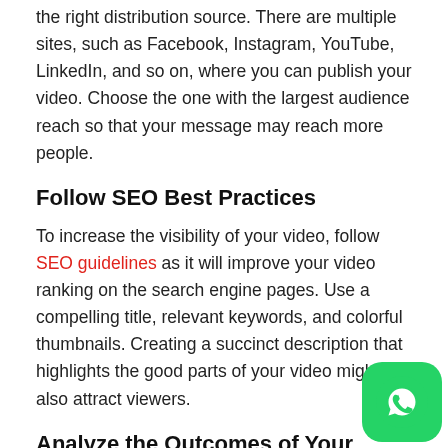the right distribution source. There are multiple sites, such as Facebook, Instagram, YouTube, LinkedIn, and so on, where you can publish your video. Choose the one with the largest audience reach so that your message may reach more people.
Follow SEO Best Practices
To increase the visibility of your video, follow SEO guidelines as it will improve your video ranking on the search engine pages. Use a compelling title, relevant keywords, and colorful thumbnails. Creating a succinct description that highlights the good parts of your video might also attract viewers.
Analyze the Outcomes of Your Video
It is critical to analyze the results in order to determine the success rate of your video marketing strategy. Keeping